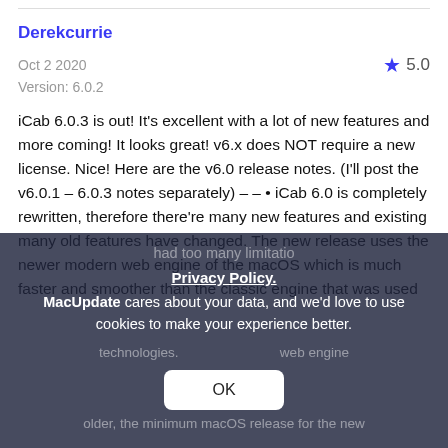Derekcurrie
Oct 2 2020   5.0
Version: 6.0.2
iCab 6.0.3 is out! It's excellent with a lot of new features and more coming! It looks great! v6.x does NOT require a new license. Nice! Here are the v6.0 release notes. (I'll post the v6.0.1 – 6.0.3 notes separately) – – • iCab 6.0 is completely rewritten, therefore there're many new features and existing many old features have changed. The new release uses the newer modern web engine of the macOS which is much faster and smoother than the classic engine that was used
Privacy Policy.
MacUpdate cares about your data, and we'd love to use cookies to make your experience better.
OK